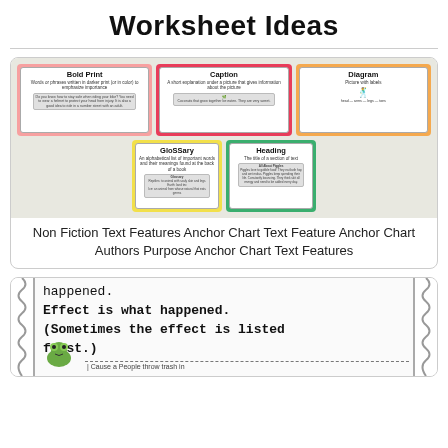Worksheet Ideas
[Figure (photo): Anchor chart showing Non Fiction Text Features cards: Bold Print, Caption, Diagram (top row), Glossary, Heading (bottom row)]
Non Fiction Text Features Anchor Chart Text Feature Anchor Chart Authors Purpose Anchor Chart Text Features
[Figure (photo): Worksheet snippet showing text: happened. Effect is what happened. (Sometimes the effect is listed first.) with wavy border decoration and a frog illustration at the bottom with a dashed line and partial text 'Cause a People throw trash in']